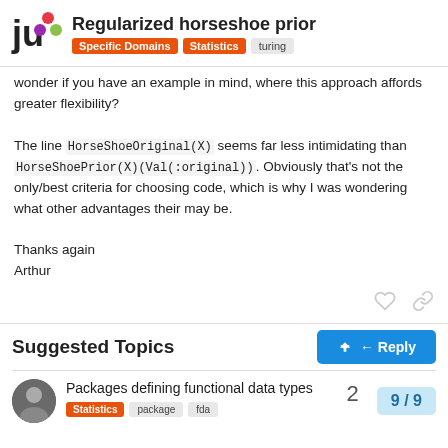Regularized horseshoe prior | Specific Domains > Statistics > turing
wonder if you have an example in mind, where this approach affords greater flexibility?
The line HorseShoeOriginal(X) seems far less intimidating than HorseShoePrior(X)(Val(:original)). Obviously that's not the only/best criteria for choosing code, which is why I was wondering what other advantages their may be.
Thanks again
Arthur
Suggested Topics
Packages defining functional data types
Statistics | package | fda